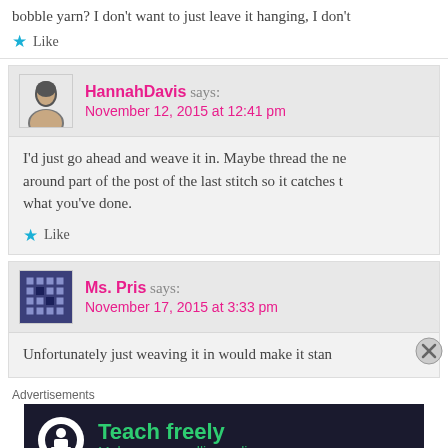bobble yarn? I don't want to just leave it hanging, I don't
Like
HannahDavis says: November 12, 2015 at 12:41 pm
I'd just go ahead and weave it in. Maybe thread the needle around part of the post of the last stitch so it catches the what you've done.
Like
Ms. Pris says: November 17, 2015 at 3:33 pm
Unfortunately just weaving it in would make it stand
Advertisements
[Figure (infographic): Advertisement banner for Teachable: dark background with white circle icon showing person at desk, green text reading 'Teach freely' and 'Make money selling online courses.']